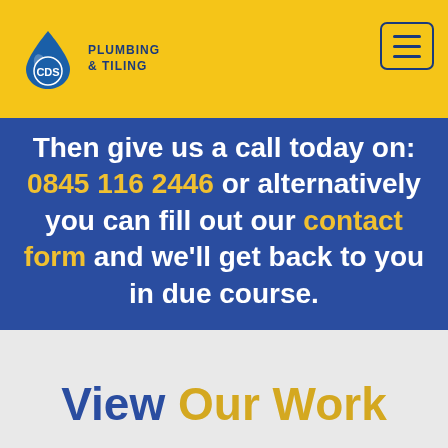[Figure (logo): CDS Plumbing & Tiling logo with blue water drop and yellow header bar with hamburger menu button]
Then give us a call today on: 0845 116 2446 or alternatively you can fill out our contact form and we'll get back to you in due course.
View Our Work
Contact Us Today!